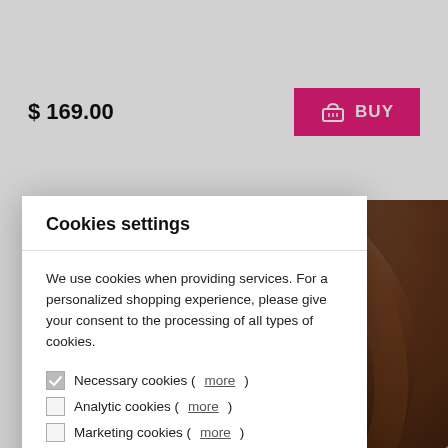$ 169.00
BUY
[Figure (photo): Brown hair product photo visible in the background on the right side]
Cookies settings
We use cookies when providing services. For a personalized shopping experience, please give your consent to the processing of all types of cookies.
Necessary cookies (more)
Analytic cookies (more)
Marketing cookies (more)
ACCEPT ALL COOKIES
ACCEPT SELECTED COOKIES
More informations about saving cookies